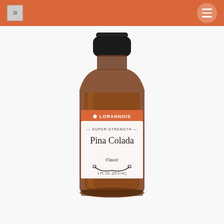LorAnn Oils
[Figure (photo): A brown glass bottle of LorAnn Oils Super-Strength Pina Colada Flavor, 1 Fl. Oz. (23.5 mL), with a black cap and white label featuring an orange LorAnn Oils banner.]